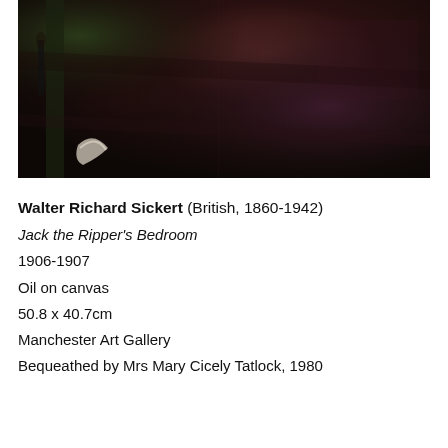[Figure (photo): A dark, moody painting showing an interior room scene. The background is very dark with deep browns, greens, and purples. A faint figure or object is visible on the left side with some white/light brushwork near the bottom left corner suggesting a curled or reclining form.]
Walter Richard Sickert (British, 1860-1942)
Jack the Ripper's Bedroom
1906-1907
Oil on canvas
50.8 x 40.7cm
Manchester Art Gallery
Bequeathed by Mrs Mary Cicely Tatlock, 1980